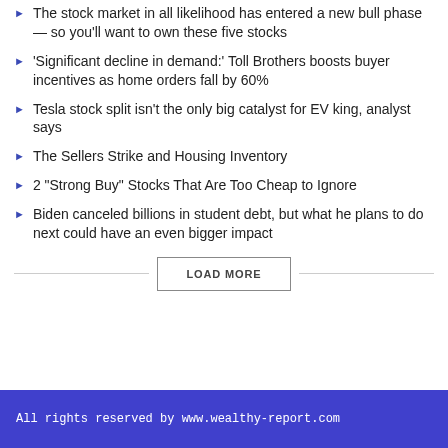The stock market in all likelihood has entered a new bull phase — so you'll want to own these five stocks
'Significant decline in demand:' Toll Brothers boosts buyer incentives as home orders fall by 60%
Tesla stock split isn't the only big catalyst for EV king, analyst says
The Sellers Strike and Housing Inventory
2 "Strong Buy" Stocks That Are Too Cheap to Ignore
Biden canceled billions in student debt, but what he plans to do next could have an even bigger impact
All rights reserved by www.wealthy-report.com